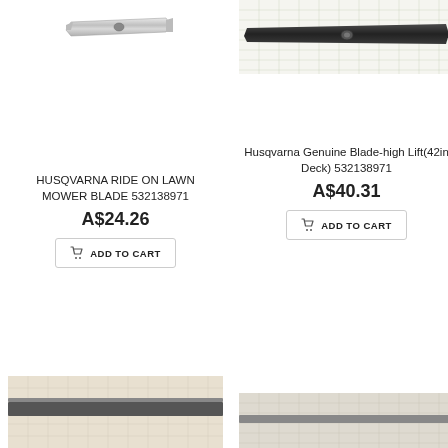[Figure (photo): Photo of a silver/metallic lawn mower blade on white background]
HUSQVARNA RIDE ON LAWN MOWER BLADE 532138971
A$24.26
ADD TO CART
[Figure (photo): Photo of a dark/black Husqvarna lawn mower blade on a measuring grid background]
Husqvarna Genuine Blade-high Lift(42in Deck) 532138971
A$40.31
ADD TO CART
[Figure (photo): Photo of a lawn mower blade on a patterned/grid background, bottom-left product]
[Figure (photo): Photo of a lawn mower blade on a patterned/grid background, bottom-right product]